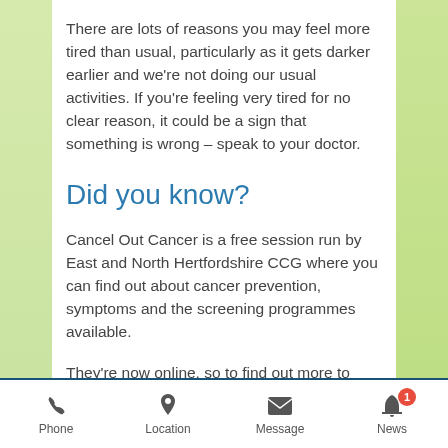There are lots of reasons you may feel more tired than usual, particularly as it gets darker earlier and we're not doing our usual activities. If you're feeling very tired for no clear reason, it could be a sign that something is wrong – speak to your doctor.
Did you know?
Cancel Out Cancer is a free session run by East and North Hertfordshire CCG where you can find out about cancer prevention, symptoms and the screening programmes available.
They're now online, so to find out more to book a session, please go to
www.enhertsccg.nhs.uk/cancel-out-cancer
Phone  Location  Message  News